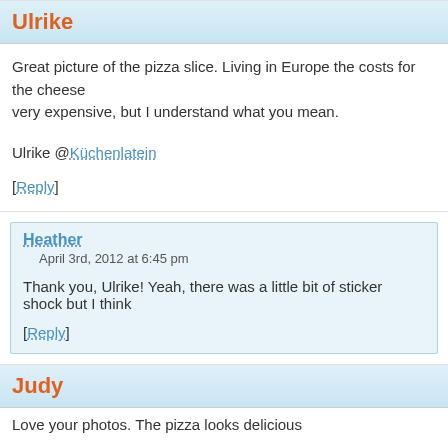Ulrike
Great picture of the pizza slice. Living in Europe the costs for the cheese very expensive, but I understand what you mean.
Ulrike @Küchenlatein
[Reply]
Heather
April 3rd, 2012 at 6:45 pm
Thank you, Ulrike! Yeah, there was a little bit of sticker shock but I think
[Reply]
Judy
Love your photos. The pizza looks delicious